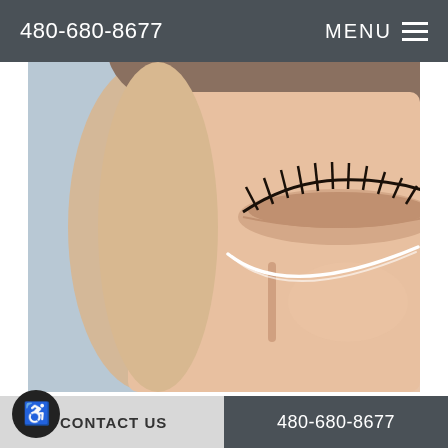480-680-8677   MENU
[Figure (photo): Close-up photo of a woman's eye with closed eyelid and long lashes, with a white curved line drawn under the eye area indicating a cosmetic procedure marking, on a light blue background]
It is certainly easy to get overwhelmed when you begin looking into options for a facelift procedure. With confusing terminology and catchy branding, the facelift industry has become tough to navigate on your own. At Starkman Facial Plastic and Laser
CONTACT US   480-680-8677